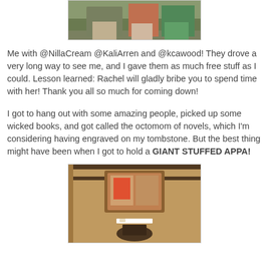[Figure (photo): Partial top photo showing people in green and red shirts]
Me with @NillaCream @KaliArren and @kcawood! They drove a very long way to see me, and I gave them as much free stuff as I could. Lesson learned: Rachel will gladly bribe you to spend time with her! Thank you all so much for coming down!
I got to hang out with some amazing people, picked up some wicked books, and got called the octomom of novels, which I'm considering having engraved on my tombstone. But the best thing might have been when I got to hold a GIANT STUFFED APPA!
[Figure (photo): Person standing in what appears to be a restaurant or hotel lobby interior with wood paneling and framed artwork]